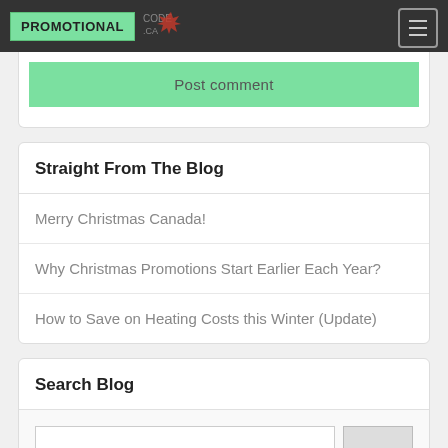[Figure (screenshot): Website navigation bar with 'PROMOTIONAL' green logo badge, CODE.CA maple leaf logo, and hamburger menu icon on dark background]
Post comment
Straight From The Blog
Merry Christmas Canada!
Why Christmas Promotions Start Earlier Each Year?
How to Save on Heating Costs this Winter (Update)
Search Blog